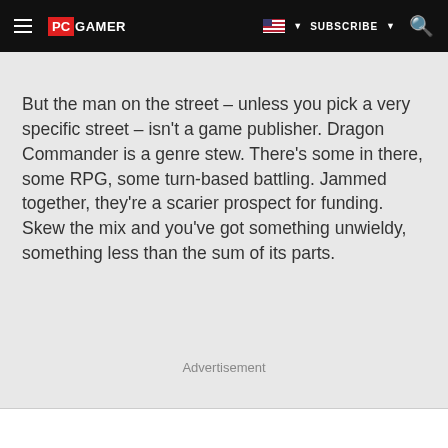PC GAMER | SUBSCRIBE
But the man on the street – unless you pick a very specific street – isn't a game publisher. Dragon Commander is a genre stew. There's some in there, some RPG, some turn-based battling. Jammed together, they're a scarier prospect for funding. Skew the mix and you've got something unwieldy, something less than the sum of its parts.
Advertisement